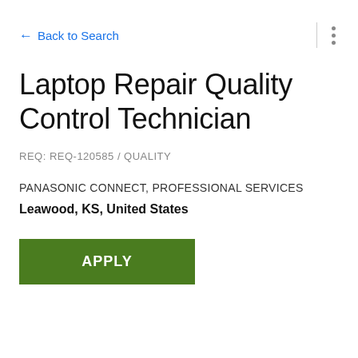← Back to Search
Laptop Repair Quality Control Technician
REQ: REQ-120585 / QUALITY
PANASONIC CONNECT, PROFESSIONAL SERVICES
Leawood, KS, United States
APPLY